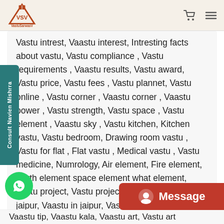VastuSarwasV
Vastu intrest, Vaastu interest, Intresting facts about vastu, Vastu compliance , Vastu requirements , Vaastu results, Vastu award, Vastu price, Vastu fees , Vastu plannet, Vastu online , Vastu corner , Vaastu corner , Vaastu power , Vastu strength, Vastu space , Vastu element , Vaastu sky , Vastu kitchen, Kitchen vastu, Vastu bedroom, Drawing room vastu , Vastu for flat , Flat vastu , Medical vastu , Vastu medicine, Numrology, Air element, Fire element, Earth element space element what element, Vastu project, Vastu projects, Vaastu, Vaastu for jaipur, Vaastu in jaipur, Vastu in rajasthan , Vaastu courses, Vaastu course , Vaastu consultation, Vaastu consultant , Vaastu products, Vaastu tip, Vaastu kala, Vaastu art, Vastu art